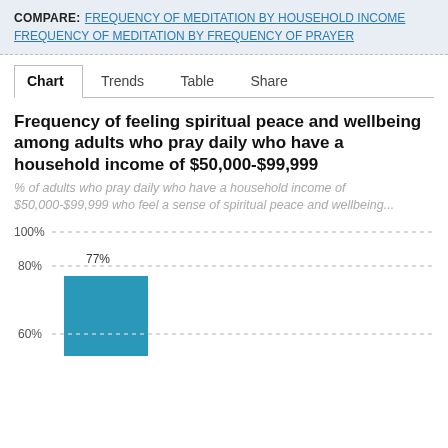COMPARE: FREQUENCY OF MEDITATION BY HOUSEHOLD INCOME  FREQUENCY OF MEDITATION BY FREQUENCY OF PRAYER
Chart  Trends  Table  Share
Frequency of feeling spiritual peace and wellbeing among adults who pray daily who have a household income of $50,000-$99,999
% of adults who pray daily who have a household income of $50,000-$99,999 who feel a sense of spiritual peace and wellbeing...
[Figure (bar-chart): Frequency of feeling spiritual peace and wellbeing among adults who pray daily who have a household income of $50,000-$99,999]